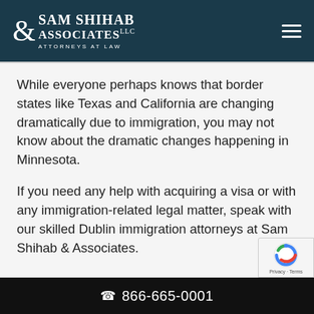Sam Shihab & Associates, LLC — Attorneys at Law
While everyone perhaps knows that border states like Texas and California are changing dramatically due to immigration, you may not know about the dramatic changes happening in Minnesota.
If you need any help with acquiring a visa or with any immigration-related legal matter, speak with our skilled Dublin immigration attorneys at Sam Shihab & Associates.
866-665-0001